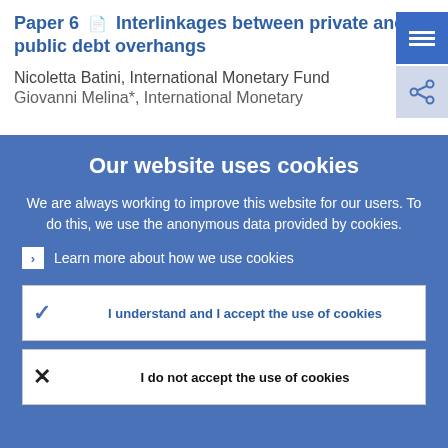Paper 6 📄 Interlinkages between private and public debt overhangs
Nicoletta Batini, International Monetary Fund
Giovanni Melina*, International Monetary
Our website uses cookies
We are always working to improve this website for our users. To do this, we use the anonymous data provided by cookies.
› Learn more about how we use cookies
✓  I understand and I accept the use of cookies
✕  I do not accept the use of cookies